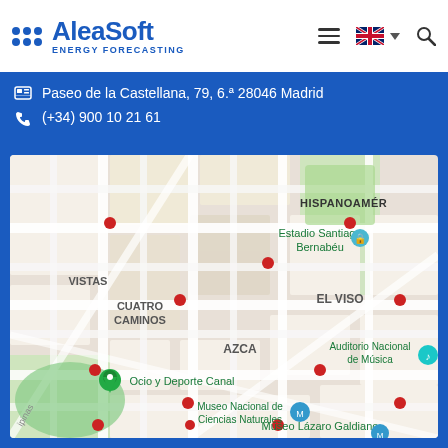[Figure (logo): AleaSoft Energy Forecasting logo with blue dots and text]
Paseo de la Castellana, 79, 6.ª 28046 Madrid
(+34) 900 10 21 61
[Figure (map): Google Maps screenshot showing area around Paseo de la Castellana in Madrid, Spain, with landmarks: Estadio Santiago Bernabéu, HISPANOAMÉR, VISTAS, CUATRO CAMINOS, EL VISO, AZCA, Auditorio Nacional de Música, Ocio y Deporte Canal, Museo Nacional de Ciencias Naturales, Museo Lázaro Galdiano]